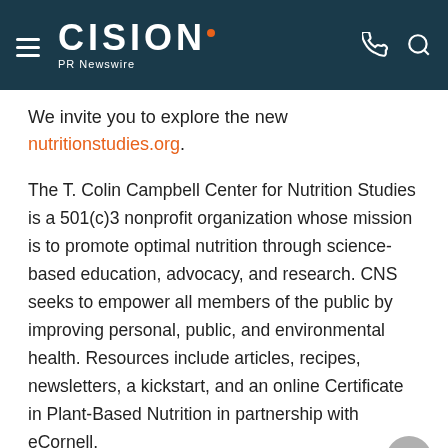CISION PR Newswire
We invite you to explore the new nutritionstudies.org.
The T. Colin Campbell Center for Nutrition Studies is a 501(c)3 nonprofit organization whose mission is to promote optimal nutrition through science-based education, advocacy, and research. CNS seeks to empower all members of the public by improving personal, public, and environmental health. Resources include articles, recipes, newsletters, a kickstart, and an online Certificate in Plant-Based Nutrition in partnership with eCornell.
SOURCE T. Colin Campbell Center for Nutrition Studies